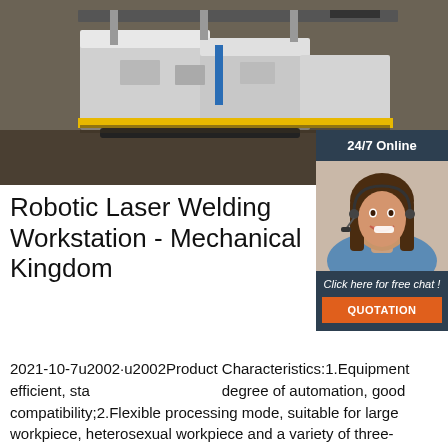[Figure (photo): Industrial robotic laser welding workstation machinery with grey and yellow components on a factory floor]
[Figure (photo): 24/7 Online chat support representative - smiling woman with headset in blue shirt, with 'Click here for free chat!' text and orange QUOTATION button]
Robotic Laser Welding Workstation - Mechanical Kingdom
2021-10-7u2002·u2002Product Characteristics:1.Equipment efficient, stable, high degree of automation, good compatibility;2.Flexible processing mode, suitable for large workpiece, heterosexual workpiece and a variety of three-dimensional workpiece welding requirements;3.Equipped with fully automatic welding tooling, fully realize automatic welding processing;4.Ensure product quality stability